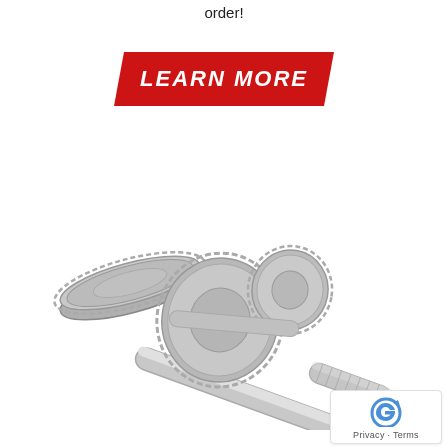order!
[Figure (illustration): Red parallelogram-shaped button with white bold italic text reading 'LEARN MORE']
[Figure (photo): Photograph of a metallic gear shaft assembly with multiple spur gears and a splined shaft, rendered in silver/gray tones on a white background]
Privacy · Terms